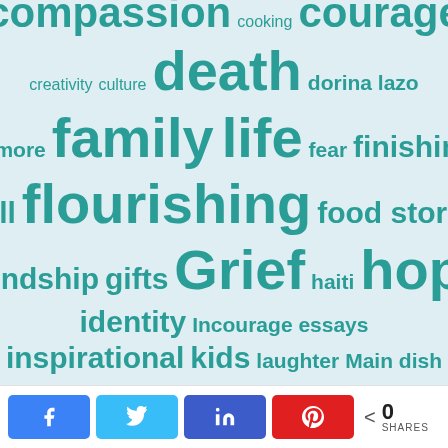[Figure (infographic): Word cloud on light blue background featuring terms related to faith, family, and lifestyle topics in teal/green color at varying font sizes indicating frequency: community, compassion, courage, death, family, life, flourishing, Grief, hope are largest; christianity, christmas, cooking, creativity, culture, dorina lazo, gilmore, fear, finishing well, food stories, friendship, gifts, haiti, identity, Incourage essays, inspirational, kids, laughter, Main dish, margin, marriage, parenting, passion, relationships, rest, self-care, serve are smaller]
k  t  in  A  < 0 SHARES